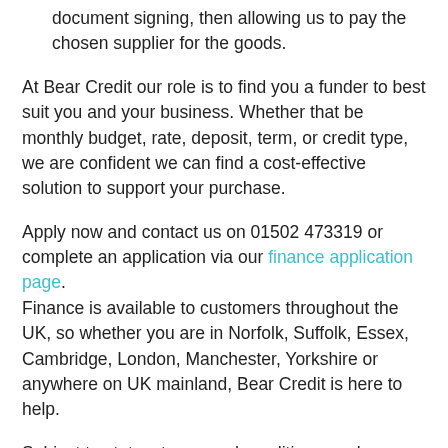document signing, then allowing us to pay the chosen supplier for the goods.
At Bear Credit our role is to find you a funder to best suit you and your business. Whether that be monthly budget, rate, deposit, term, or credit type, we are confident we can find a cost-effective solution to support your purchase.
Apply now and contact us on 01502 473319 or complete an application via our finance application page. Finance is available to customers throughout the UK, so whether you are in Norfolk, Suffolk, Essex, Cambridge, London, Manchester, Yorkshire or anywhere on UK mainland, Bear Credit is here to help.
Subject to status, terms and conditions apply.